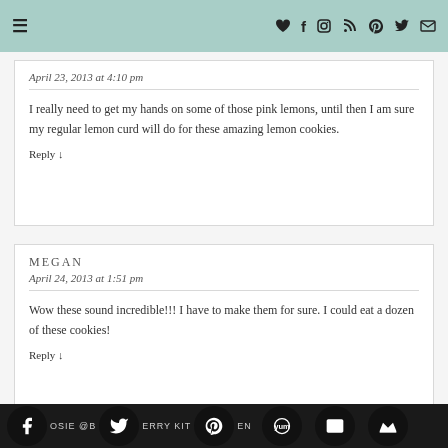≡ ♥ f ⊡ )))  ® ✔ ✉
April 23, 2013 at 4:10 pm
I really need to get my hands on some of those pink lemons, until then I am sure my regular lemon curd will do for these amazing lemon cookies.
Reply ↓
MEGAN
April 24, 2013 at 1:51 pm
Wow these sound incredible!!! I have to make them for sure. I could eat a dozen of these cookies!
Reply ↓
OSIE @BERRY KITCHEN